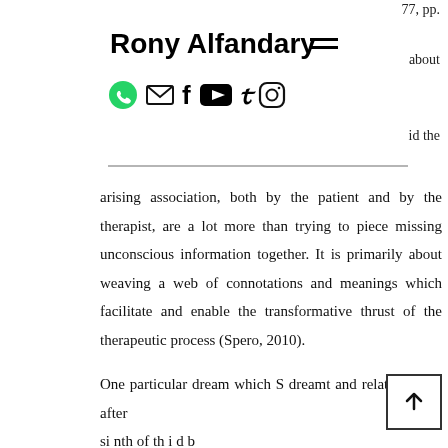77, pp.
Rony Alfandary
about
id the
arising association, both by the patient and by the therapist, are a lot more than trying to piece missing unconscious information together. It is primarily about weaving a web of connotations and meanings which facilitate and enable the transformative thrust of the therapeutic process (Spero, 2010).
One particular dream which S dreamt and related to me after si nth of th i d b